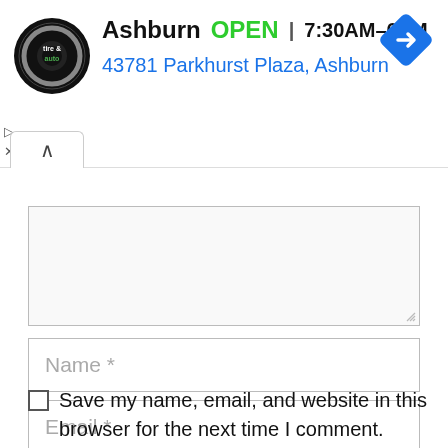[Figure (screenshot): Ad banner for Virginia Tire & Auto Ashburn location showing logo, OPEN status, hours 7:30AM–6PM, and address 43781 Parkhurst Plaza, Ashburn, with a blue navigation arrow icon. Includes collapse (^) and close (X) controls.]
[Figure (screenshot): Web form screenshot showing a comment textarea (empty), Name * input field, Email * input field, and a checkbox with label 'Save my name, email, and website in this browser for the next time I comment.']